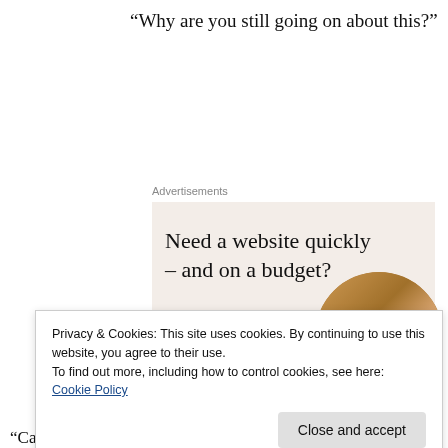“Why are you still going on about this?”
Advertisements
[Figure (infographic): Advertisement banner with beige background showing headline 'Need a website quickly – and on a budget?', subtext 'Let us build it for you', a 'Let’s get started' button, and a circular photo of hands working on a laptop.]
Privacy & Cookies: This site uses cookies. By continuing to use this website, you agree to their use.
To find out more, including how to control cookies, see here: Cookie Policy
“Calm down! What we experienced was a common.